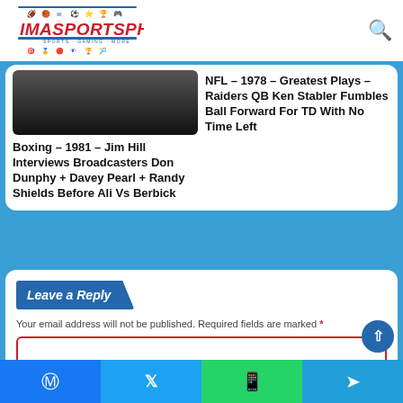[Figure (logo): IMASPORTSPHILE website logo with sports icons and red/blue color scheme]
Boxing – 1981 – Jim Hill Interviews Broadcasters Don Dunphy + Davey Pearl + Randy Shields Before Ali Vs Berbick
NFL – 1978 – Greatest Plays – Raiders QB Ken Stabler Fumbles Ball Forward For TD With No Time Left
Leave a Reply
Your email address will not be published. Required fields are marked *